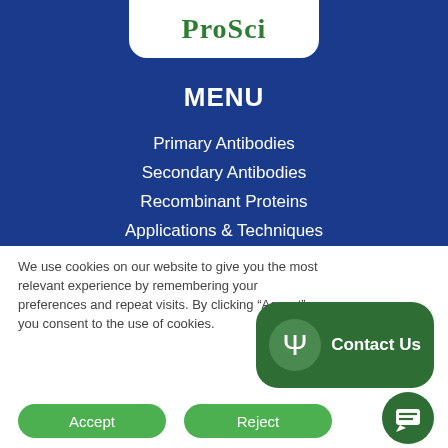[Figure (logo): ProSci logo in white rounded box on dark blue background]
MENU
Primary Antibodies
Secondary Antibodies
Recombinant Proteins
Applications & Techniques
We use cookies on our website to give you the most relevant experience by remembering your preferences and repeat visits. By clicking “Accept”, you consent to the use of cookies.
[Figure (other): Contact Us button with Psi symbol icon on dark green rounded rectangle background]
[Figure (other): Chat message bubble icon in dark green circle, bottom right]